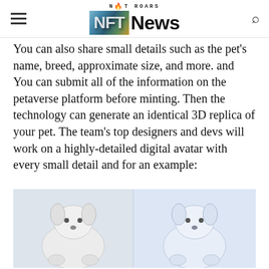NFT ROARS — NFT News
You can also share small details such as the pet's name, breed, approximate size, and more. and You can submit all of the information on the petaverse platform before minting. Then the technology can generate an identical 3D replica of your pet. The team's top designers and devs will work on a highly-detailed digital avatar with every small detail and for an example:
[Figure (illustration): Two-panel image showing 3D digital dog avatars side by side on a light blue/grey background, illustrating pet NFT digital replicas.]